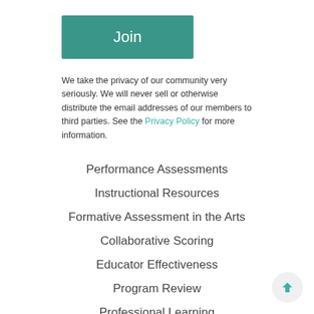Join
We take the privacy of our community very seriously. We will never sell or otherwise distribute the email addresses of our members to third parties. See the Privacy Policy for more information.
Performance Assessments
Instructional Resources
Formative Assessment in the Arts
Collaborative Scoring
Educator Effectiveness
Program Review
Professional Learning
What's New
Partners